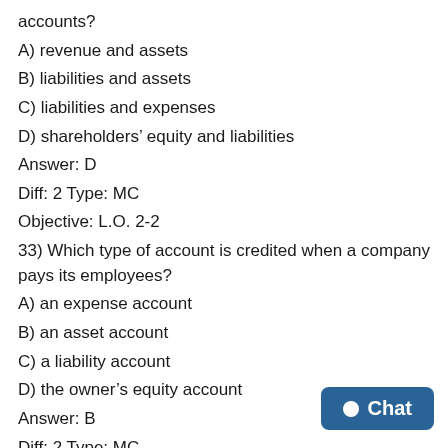accounts?
A) revenue and assets
B) liabilities and assets
C) liabilities and expenses
D) shareholders' equity and liabilities
Answer: D
Diff: 2 Type: MC
Objective: L.O. 2-2
33) Which type of account is credited when a company pays its employees?
A) an expense account
B) an asset account
C) a liability account
D) the owner's equity account
Answer: B
Diff: 2 Type: MC
Objective: L.O. 2-2